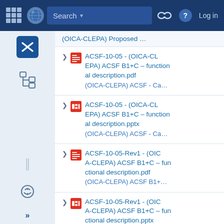Search | Log in
(OICA-CLEPA) Proposed …
ACSF-10-05 - (OICA-CLEPA) ACSF B1+C – functional description.pdf (OICA-CLEPA) ACSF - Ca…
ACSF-10-05 - (OICA-CLEPA) ACSF B1+C – functional description.pptx (OICA-CLEPA) ACSF - Ca…
ACSF-10-05-Rev1 - (OICA-CLEPA) ACSF B1+C – functional description.pdf (OICA-CLEPA) ACSF B1+…
ACSF-10-05-Rev1 - (OICA-CLEPA) ACSF B1+C – functional description.pptx (OICA-CLEPA) ACSF B1+…